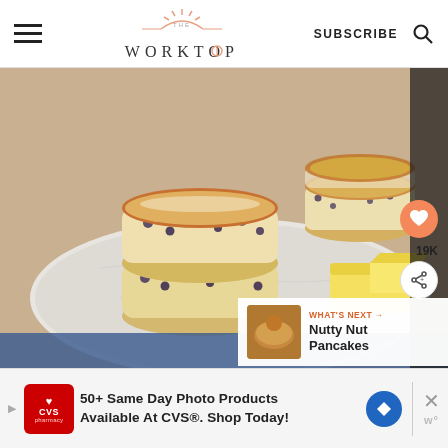THE WORKTOP — SUBSCRIBE
[Figure (photo): Stack of Welsh cakes with blueberries dusted with powdered sugar on a marble board with a butter knife and pat of butter beside them. Another stack of Welsh cakes visible in background.]
19K
WHAT'S NEXT → Nutty Nut Pancakes
50+ Same Day Photo Products Available At CVS®. Shop Today!